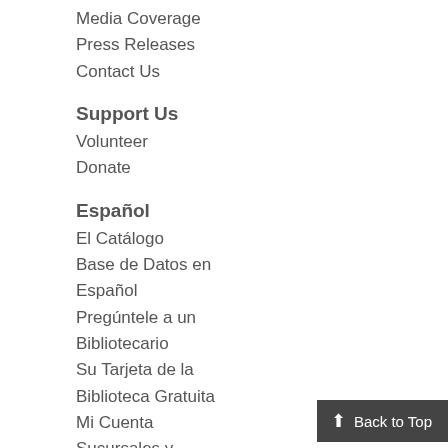Media Coverage
Press Releases
Contact Us
Support Us
Volunteer
Donate
Español
El Catálogo
Base de Datos en Español
Pregúntele a un Bibliotecario
Su Tarjeta de la Biblioteca Gratuita
Mi Cuenta
Sucursales y Direcciones
Aprenda Inglés
Preguntas Frecuentes
Descubra el Nuevo Sitio
Employment
Back to Top